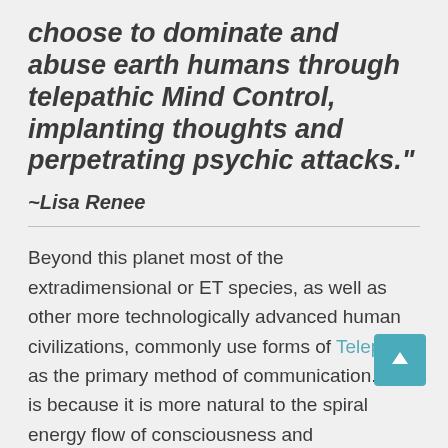choose to dominate and abuse earth humans through telepathic Mind Control, implanting thoughts and perpetrating psychic attacks."
~Lisa Renee
Beyond this planet most of the extradimensional or ET species, as well as other more technologically advanced human civilizations, commonly use forms of Telepathy as the primary method of communication. This is because it is more natural to the spiral energy flow of consciousness and electromagnetic fields, also more accurate, fast and advanced in relaying multiple layers of meaning that are held in information streams. External